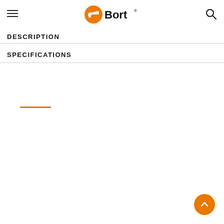Bort
DESCRIPTION
SPECIFICATIONS